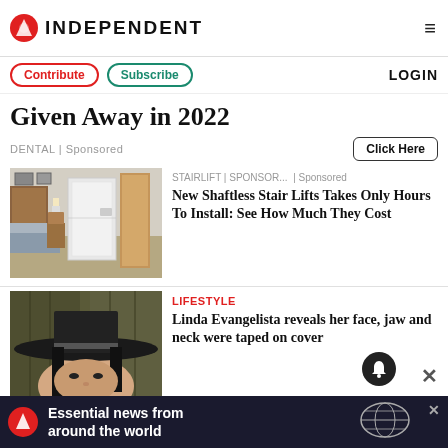INDEPENDENT
Contribute  Subscribe  LOGIN
Given Away in 2022
DENTAL | Sponsored
Click Here
[Figure (photo): A stairlift / vertical platform lift installed in a bedroom]
STAIRLIFT | SPONSOR... | Sponsored
New Shaftless Stair Lifts Takes Only Hours To Install: See How Much They Cost
[Figure (photo): Person wearing a wide-brimmed black hat with dark hair, face partially visible]
LIFESTYLE
Linda Evangelista reveals her face, jaw and neck were taped on cover
Essential news from around the world